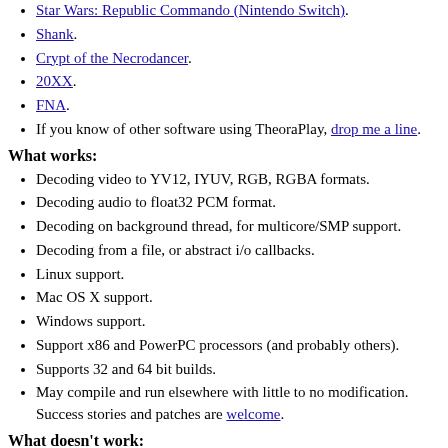Star Wars: Republic Commando (Nintendo Switch).
Shank.
Crypt of the Necrodancer.
20XX.
FNA.
If you know of other software using TheoraPlay, drop me a line.
What works:
Decoding video to YV12, IYUV, RGB, RGBA formats.
Decoding audio to float32 PCM format.
Decoding on background thread, for multicore/SMP support.
Decoding from a file, or abstract i/o callbacks.
Linux support.
Mac OS X support.
Windows support.
Support x86 and PowerPC processors (and probably others).
Supports 32 and 64 bit builds.
May compile and run elsewhere with little to no modification. Success stories and patches are welcome.
What doesn't work: